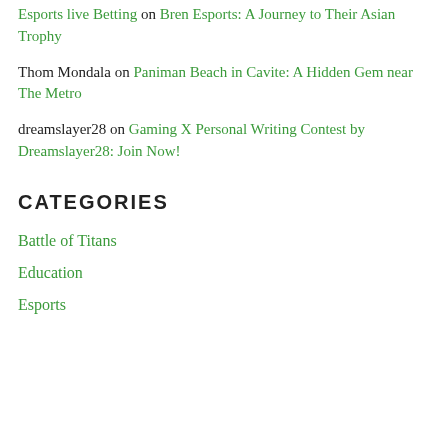Esports live Betting on Bren Esports: A Journey to Their Asian Trophy
Thom Mondala on Paniman Beach in Cavite: A Hidden Gem near The Metro
dreamslayer28 on Gaming X Personal Writing Contest by Dreamslayer28: Join Now!
CATEGORIES
Battle of Titans
Education
Esports